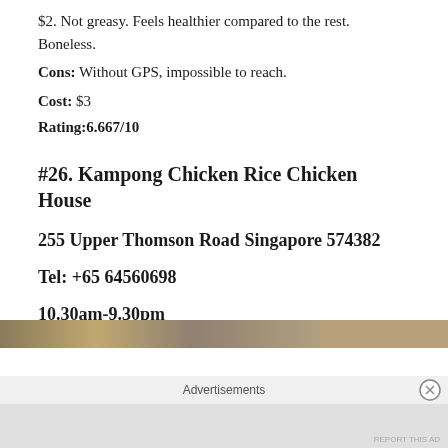$2. Not greasy. Feels healthier compared to the rest. Boneless.
Cons: Without GPS, impossible to reach.
Cost: $3
Rating:6.667/10
#26. Kampong Chicken Rice Chicken House
255 Upper Thomson Road Singapore 574382
Tel: +65 64560698
10.30am-9.30pm
[Figure (photo): Partially visible image at the bottom of the page, mostly cropped]
Advertisements